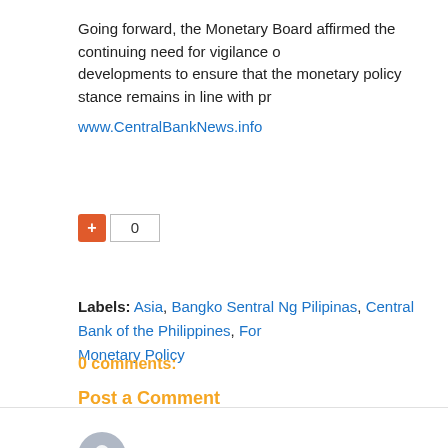Going forward, the Monetary Board affirmed the continuing need for vigilance o... developments to ensure that the monetary policy stance remains in line with pr...
www.CentralBankNews.info
[Figure (other): Vote button (red plus icon) and vote count showing 0]
Labels: Asia, Bangko Sentral Ng Pilipinas, Central Bank of the Philippines, For... Monetary Policy
0 comments:
Post a Comment
[Figure (other): User avatar circle icon with Enter Comment input field below]